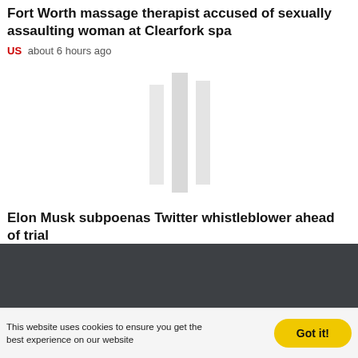Fort Worth massage therapist accused of sexually assaulting woman at Clearfork spa
US   about 6 hours ago
[Figure (illustration): Blurred/loading image placeholder with vertical gray bars]
Elon Musk subpoenas Twitter whistleblower ahead of trial
US   about 6 hours ago
© Copyright   Daily Magazine
This website uses cookies to ensure you get the best experience on our website   Got it!